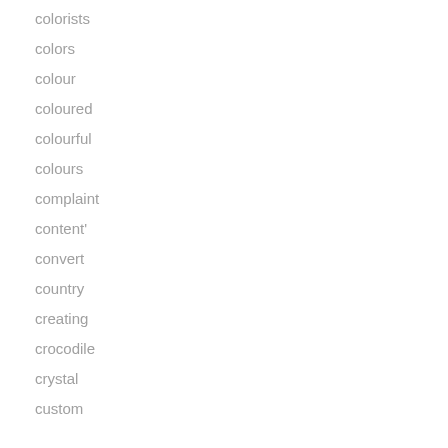colorists
colors
colour
coloured
colourful
colours
complaint
content'
convert
country
creating
crocodile
crystal
custom